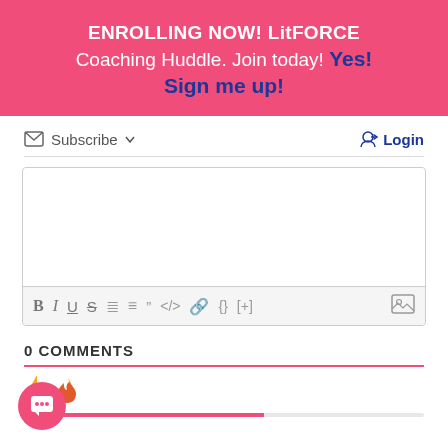ENROLLING NOW! LitFORCE Coaching Huddle. Join today! Yes! Sign me up!
[Figure (screenshot): Subscribe button with envelope icon and dropdown arrow, and Login button with arrow icon]
[Figure (screenshot): Text editor area with formatting toolbar: B, I, U, S, ordered list, unordered list, blockquote, code, link, curly braces, [+], and image icon]
0 COMMENTS
[Figure (screenshot): Comment section icons: yellow lightning bolt and orange fire icon, with pink progress bar below. Chat FAB button at bottom left.]